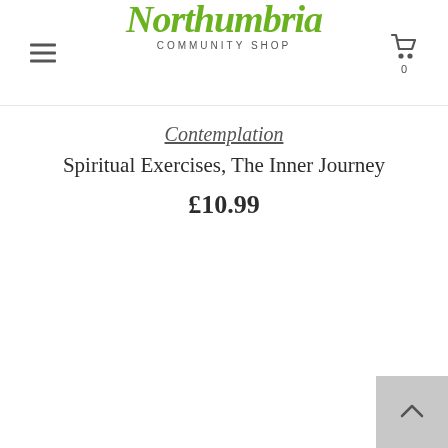Northumbria Community Shop
Contemplation
Spiritual Exercises, The Inner Journey
£10.99